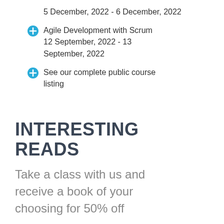5 December, 2022 - 6 December, 2022
Agile Development with Scrum 12 September, 2022 - 13 September, 2022
See our complete public course listing
INTERESTING READS
Take a class with us and receive a book of your choosing for 50% off